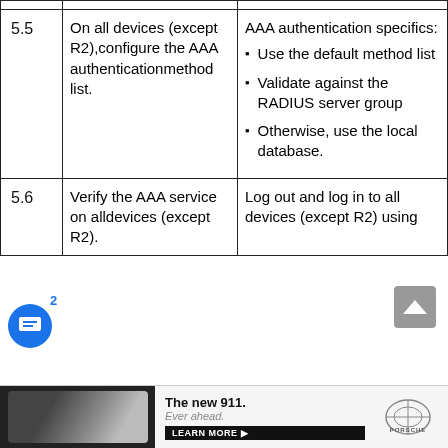| # | Task | Specification |
| --- | --- | --- |
| 5.5 | On all devices (except R2),configure the AAA authenticationmethod list. | AAA authentication specifics:
• Use the default method list
• Validate against the RADIUS server group
• Otherwise, use the local database. |
| 5.6 | Verify the AAA service on alldevices (except R2). | Log out and log in to all devices (except R2) using |